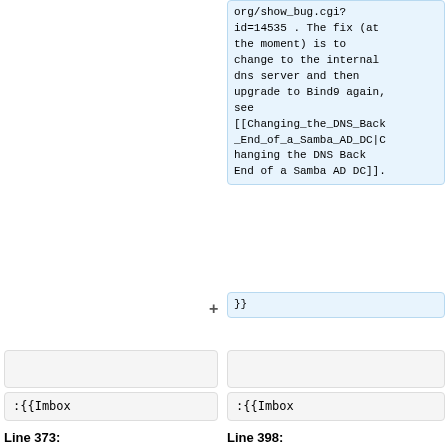org/show_bug.cgi?id=14535 . The fix (at the moment) is to change to the internal dns server and then upgrade to Bind9 again, see [[Changing_the_DNS_Back_End_of_a_Samba_AD_DC|Changing the DNS Back End of a Samba AD DC]].
}}
:{{Imbox
:{{Imbox
Line 373:
Line 398: